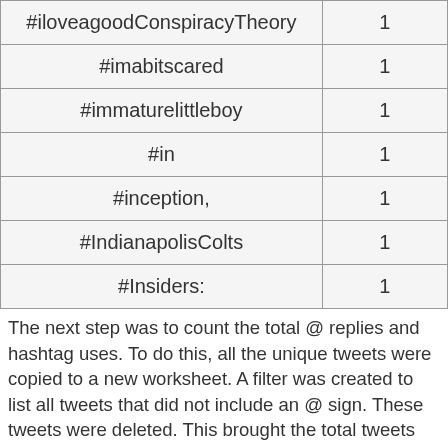| #iloveagoodConspiracyTheory | 1 |
| #imabitscared | 1 |
| #immaturelittleboy | 1 |
| #in | 1 |
| #inception, | 1 |
| #IndianapolisColts | 1 |
| #Insiders: | 1 |
The next step was to count the total @ replies and hashtag uses. To do this, all the unique tweets were copied to a new worksheet. A filter was created to list all tweets that did not include an @ sign. These tweets were deleted. This brought the total tweets from 5,427 to 1,844. The next step was to create a filter to show all tweets that did not include a #. These tweets were then deleted. This brought the total Tweets down to 832. The next step was to look remove tweets that did not contain "RT @", "RT:@", "retweeting @", "retweet @", "via @", "thx @", "HT @", or "r @". This leaves 458 tweets that are retweets that contain hash tags.